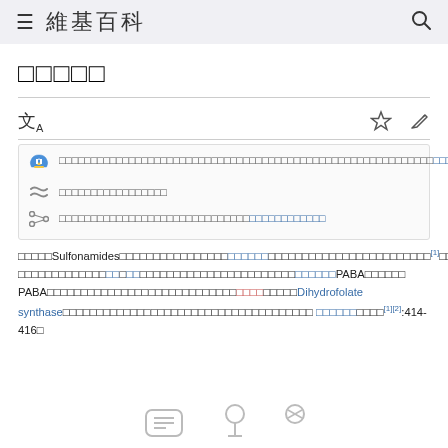≡ 維基百科 🔍
□□□□□
文A toolbar with star and edit icons
Notice box with 3 rows of CJK text and links
□□□□□Sulfonamides□□□□□□□□□□□□□□□□□□□□□□□□□□□□□□□□[1]□□□□□□□□□□□□□□□□□□□□□□□□□□□□□□□□□□PABA□□□□□□PABA□□□□□□□□□□□□□□□□□□□□□□□□□□□□□□Dihydrofolate synthase□□□□□□□□□□□□□□□□□□□□□□□□□□□□□□□□□□□□□□□[1][2]:414-416□
[Figure (illustration): Bottom icons partially visible: chemical structure icon and molecule icons]